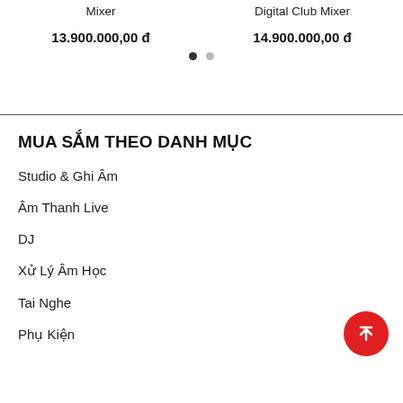Mixer
13.900.000,00 đ
Digital Club Mixer
14.900.000,00 đ
MUA SẮM THEO DANH MỤC
Studio & Ghi Âm
Âm Thanh Live
DJ
Xử Lý Âm Học
Tai Nghe
Phụ Kiện